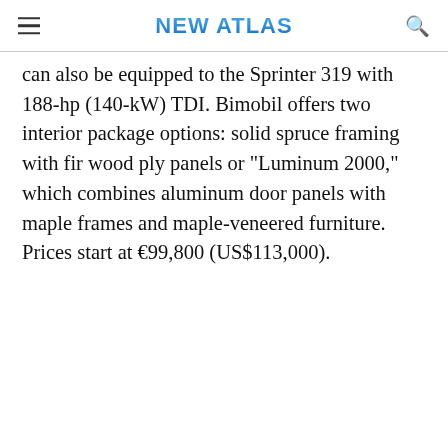NEW ATLAS
can also be equipped to the Sprinter 319 with 188-hp (140-kW) TDI. Bimobil offers two interior package options: solid spruce framing with fir wood ply panels or "Luminum 2000," which combines aluminum door panels with maple frames and maple-veneered furniture. Prices start at €99,800 (US$113,000).